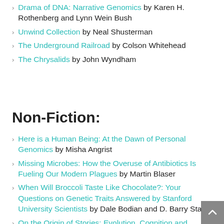Drama of DNA: Narrative Genomics by Karen H. Rothenberg and Lynn Wein Bush
Unwind Collection by Neal Shusterman
The Underground Railroad by Colson Whitehead
The Chrysalids by John Wyndham
Non-Fiction:
Here is a Human Being: At the Dawn of Personal Genomics by Misha Angrist
Missing Microbes: How the Overuse of Antibiotics Is Fueling Our Modern Plagues by Martin Blaser
When Will Broccoli Taste Like Chocolate?: Your Questions on Genetic Traits Answered by Stanford University Scientists by Dale Bodian and D. Barry Starr
On the Origin of Stories: Evolution, Cognition and